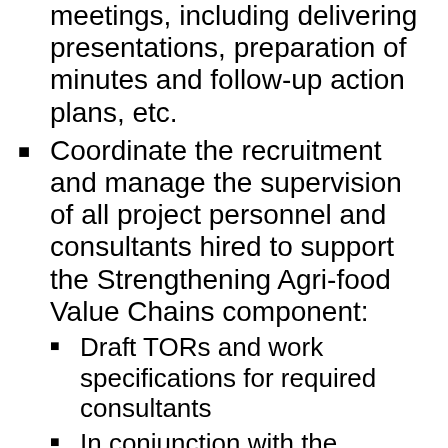meetings, including delivering presentations, preparation of minutes and follow-up action plans, etc.
Coordinate the recruitment and manage the supervision of all project personnel and consultants hired to support the Strengthening Agri-food Value Chains component:
Draft TORs and work specifications for required consultants
In conjunction with the implementing MDA, lead the technical reviews and discussions to facilitate the transparent and competitive selection